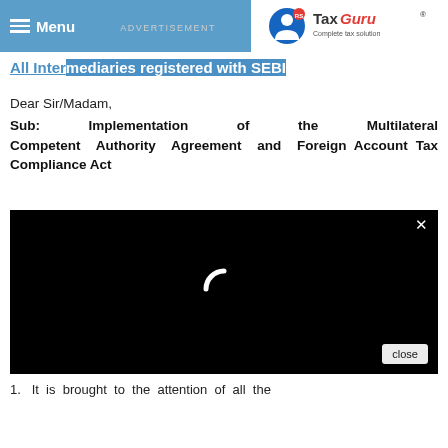Menu | ADVERTISEMENT | TaxGuru – Complete tax solution
All Intermediaries registered with SEBI
Dear Sir/Madam,
Sub: Implementation of the Multilateral Competent Authority Agreement and Foreign Account Tax Compliance Act
[Figure (other): Black video/advertisement overlay box with a loading spinner, a close X button in the top right, and a 'close' button in the bottom right.]
1.   It is brought to the attention of all the